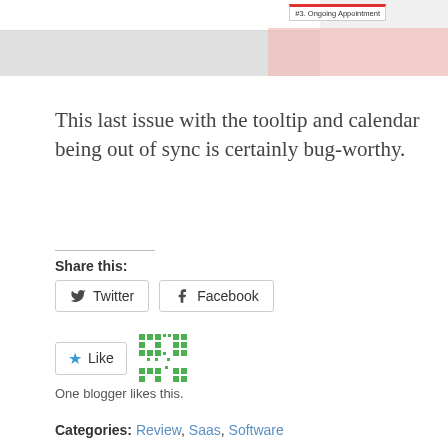[Figure (screenshot): Top portion of a screenshot showing a tooltip chip labeled '#3. Ongoing Appointment' with a pink/salmon colored background area and gray strip.]
This last issue with the tooltip and calendar being out of sync is certainly bug-worthy.
Share this:
[Figure (infographic): Twitter and Facebook share buttons, and a Like button with a QR-like green dots image. Text: One blogger likes this.]
Categories: Review, Saas, Software
Previous
GARBAGE IN GARBAGE OUT. HOW ONE EXTRA
Next
BOOKER LOGIN PROBLEMS